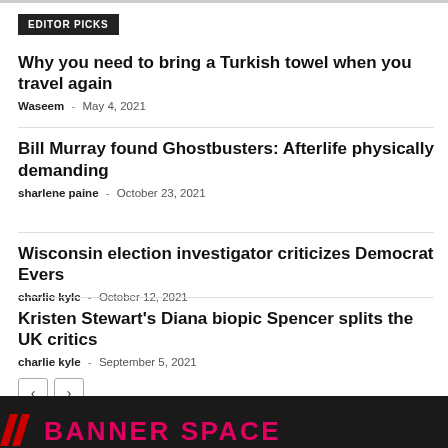EDITOR PICKS
Why you need to bring a Turkish towel when you travel again
Waseem - May 4, 2021
Bill Murray found Ghostbusters: Afterlife physically demanding
sharlene paine - October 23, 2021
Wisconsin election investigator criticizes Democrat Evers
charlie kyle - October 12, 2021
Kristen Stewart's Diana biopic Spencer splits the UK critics
charlie kyle - September 5, 2021
BANNER SPACE